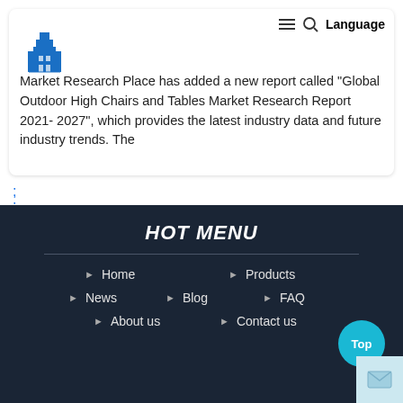Market Research Place has added a new report called "Global Outdoor High Chairs and Tables Market Research Report 2021-2027", which provides the latest industry data and future industry trends. The
HOT MENU
Home
Products
News
Blog
FAQ
About us
Contact us